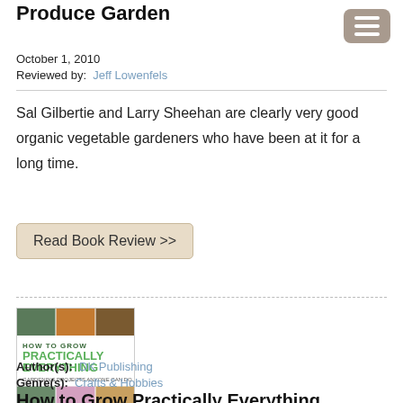Produce Garden
October 1, 2010
Reviewed by: Jeff Lowenfels
Sal Gilbertie and Larry Sheehan are clearly very good organic vegetable gardeners who have been at it for a long time.
Read Book Review >>
[Figure (photo): Book cover of 'How to Grow Practically Everything: Gardening Projects Anyone Can Do' by DK Publishing, showing a grid of gardening photos including plants, flowers, vegetables, and hands tending to soil.]
Author(s): DK Publishing
Genre(s): Crafts & Hobbies
How to Grow Practically Everything